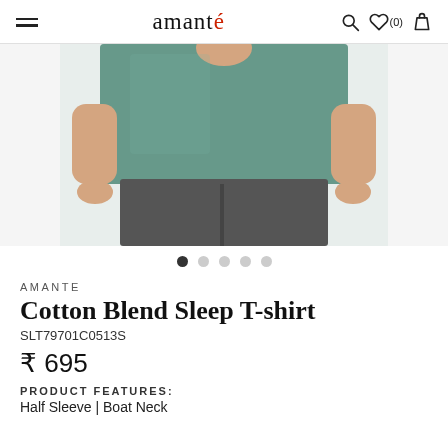amanté — navigation header with hamburger menu, search, wishlist (0), and bag icons
[Figure (photo): Woman wearing a teal/green cotton blend sleep T-shirt with half sleeves and boat neck, paired with dark grey pants. Only the torso and lower body visible.]
AMANTE
Cotton Blend Sleep T-shirt
SLT79701C0513S
₹ 695
PRODUCT FEATURES:
Half Sleeve | Boat Neck